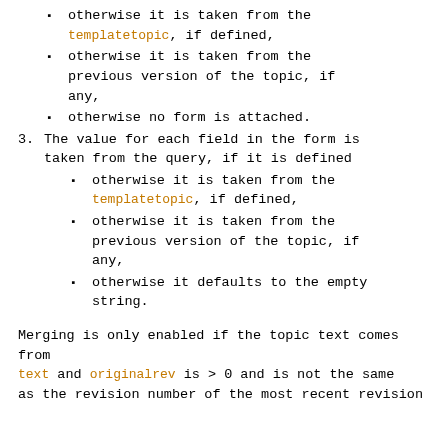otherwise it is taken from the templatetopic, if defined,
otherwise it is taken from the previous version of the topic, if any,
otherwise no form is attached.
3. The value for each field in the form is taken from the query, if it is defined
otherwise it is taken from the templatetopic, if defined,
otherwise it is taken from the previous version of the topic, if any,
otherwise it defaults to the empty string.
Merging is only enabled if the topic text comes from text and originalrev is > 0 and is not the same as the revision number of the most recent revision